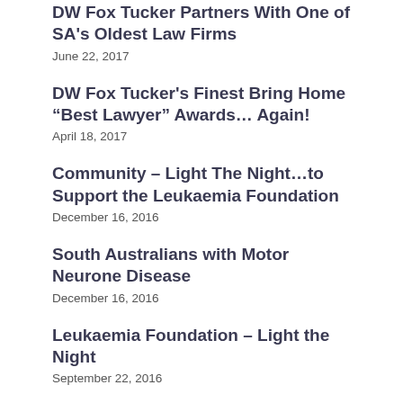DW Fox Tucker Partners With One of SA's Oldest Law Firms
June 22, 2017
DW Fox Tucker's Finest Bring Home “Best Lawyer” Awards… Again!
April 18, 2017
Community – Light The Night…to Support the Leukaemia Foundation
December 16, 2016
South Australians with Motor Neurone Disease
December 16, 2016
Leukaemia Foundation – Light the Night
September 22, 2016
Rising Stars Recognised and Promoted
July 2, 2016
University of Adelaide Law School Prize Ceremony